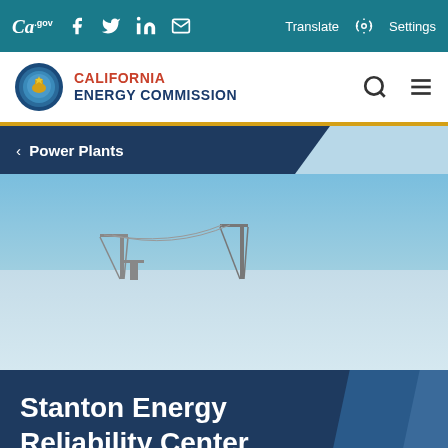CA.GOV | Facebook | Twitter | LinkedIn | Email | Translate | Settings
[Figure (logo): California Energy Commission logo with circular seal and CALIFORNIA ENERGY COMMISSION text in red and navy blue]
Power Plants
[Figure (photo): Aerial or ground-level photo of a power plant with transmission towers against a clear blue sky, misty/snowy foreground]
Stanton Energy Reliability Center